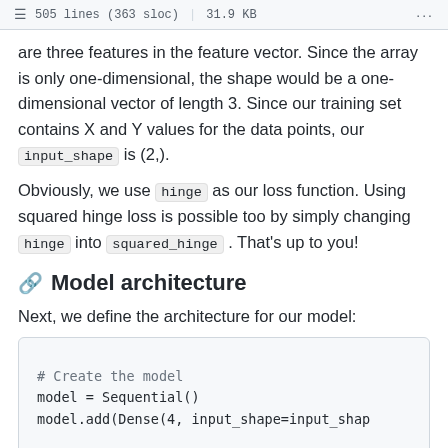505 lines (363 sloc) | 31.9 KB
are three features in the feature vector. Since the array is only one-dimensional, the shape would be a one-dimensional vector of length 3. Since our training set contains X and Y values for the data points, our input_shape is (2,).
Obviously, we use hinge as our loss function. Using squared hinge loss is possible too by simply changing hinge into squared_hinge . That's up to you!
Model architecture
Next, we define the architecture for our model:
[Figure (screenshot): Code block showing Python/Keras model creation: # Create the model, model = Sequential(), model.add(Dense(4, input_shape=input_shap]